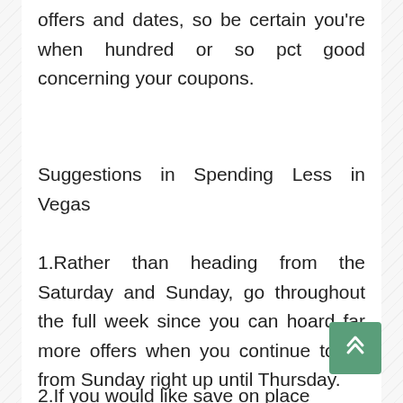offers and dates, so be certain you're when hundred or so pct good concerning your coupons.
Suggestions in Spending Less in Vegas
1.Rather than heading from the Saturday and Sunday, go throughout the full week since you can hoard far more offers when you continue to be from Sunday right up until Thursday.
2.If you would like save on place